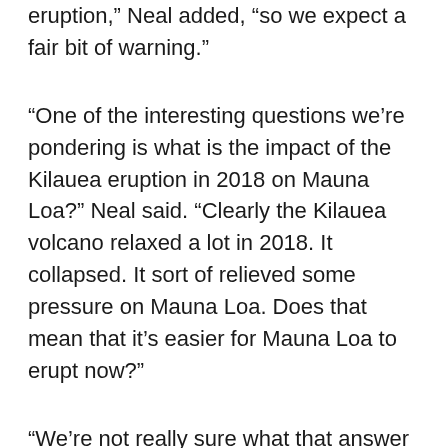eruption,” Neal added, “so we expect a fair bit of warning.”
“One of the interesting questions we’re pondering is what is the impact of the Kilauea eruption in 2018 on Mauna Loa?” Neal said. “Clearly the Kilauea volcano relaxed a lot in 2018. It collapsed. It sort of relieved some pressure on Mauna Loa. Does that mean that it’s easier for Mauna Loa to erupt now?”
“We’re not really sure what that answer is but there may be an impact,” she said.